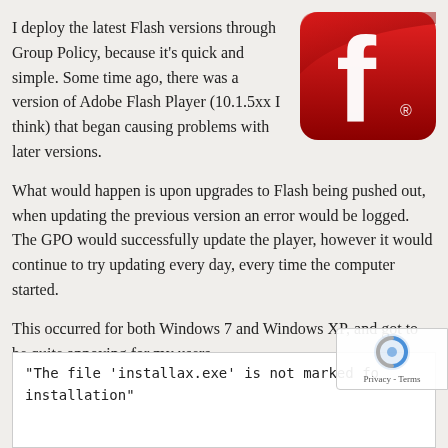I deploy the latest Flash versions through Group Policy, because it’s quick and simple. Some time ago, there was a version of Adobe Flash Player (10.1.5xx I think) that began causing problems with later versions.
[Figure (logo): Adobe Flash Player logo — red rounded square with white letter f and registered trademark symbol]
What would happen is upon upgrades to Flash being pushed out, when updating the previous version an error would be logged. The GPO would successfully update the player, however it would continue to try updating every day, every time the computer started.
This occurred for both Windows 7 and Windows XP, and got to be quite annoying for my users.
When trying to update manually, the error that appeared was
"The file 'installax.exe' is not marked fo installation"